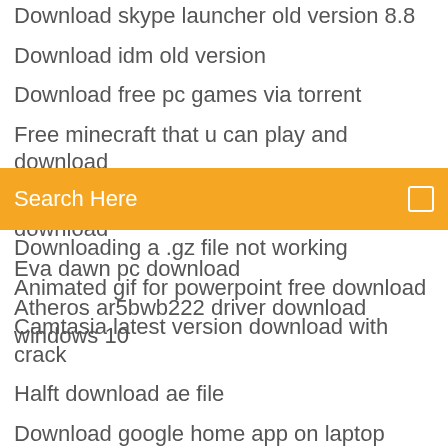Download skype launcher old version 8.8
Download idm old version
Download free pc games via torrent
Free minecraft that u can play and download
Latest masri girl amazing dance mp4 download
Eva dawn pc download
Atheros ar5bwb222 driver download windows 10
Search Here
Downloading a .gz file not working
Animated gif for powerpoint free download
Camtasia latest version download with crack
Halft download ae file
Download google home app on laptop
Verizon plus app download
Chrome detect files to download
Redbox tv app for android free download
My cousin vinny torrent download
Samsung smart switch driver download